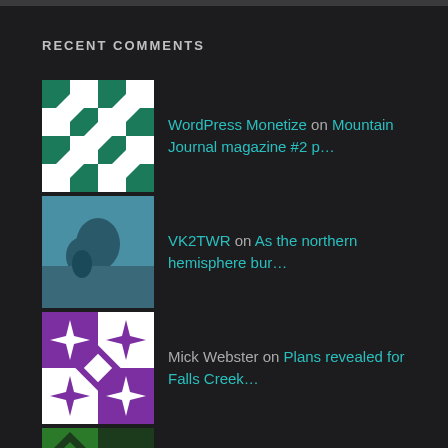RECENT COMMENTS
WordPress Monetize on Mountain Journal magazine #2 p…
VK2TWR on As the northern hemisphere bur…
Mick Webster on Plans revealed for Falls Creek…
Andrew Hall on Plans revealed for Falls Creek…
Dr Bob Rich on 'Feral horse removals in…
John Sim on What should be in Mountain Jou…
VK2TWR Rod Collman on Mike Edmondson. Living the Dre…